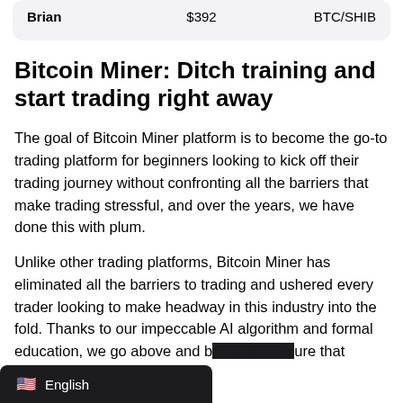| Name | Amount | Pair |
| --- | --- | --- |
| Brian | $392 | BTC/SHIB |
Bitcoin Miner: Ditch training and start trading right away
The goal of Bitcoin Miner platform is to become the go-to trading platform for beginners looking to kick off their trading journey without confronting all the barriers that make trading stressful, and over the years, we have done this with plum.
Unlike other trading platforms, Bitcoin Miner has eliminated all the barriers to trading and ushered every trader looking to make headway in this industry into the fold. Thanks to our impeccable AI algorithm and formal education, we go above and b[…]ure that you're set up for success.